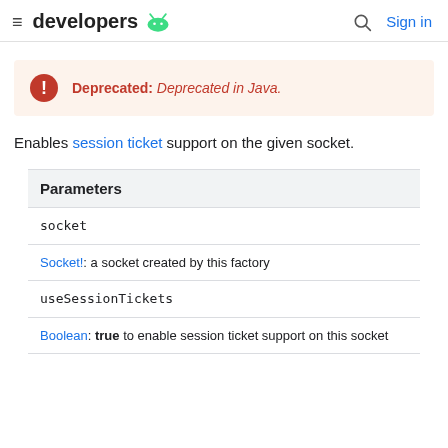≡ developers 🤖  🔍 Sign in
Deprecated: Deprecated in Java.
Enables session ticket support on the given socket.
| Parameters |
| --- |
| socket | Socket!: a socket created by this factory |
| useSessionTickets | Boolean: true to enable session ticket support on this socket |